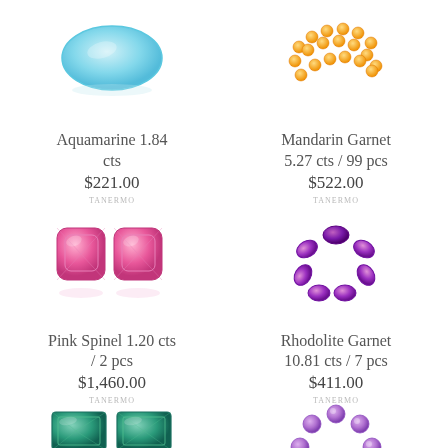[Figure (photo): Aquamarine gemstone, light blue oval cut]
[Figure (photo): Mandarin Garnet, orange beaded necklace strands]
Aquamarine 1.84 cts
$221.00
Mandarin Garnet 5.27 cts / 99 pcs
$522.00
[Figure (photo): Pink Spinel pair, cushion cut pink gemstones]
[Figure (photo): Rhodolite Garnet flower arrangement of 7 oval purple gems]
Pink Spinel 1.20 cts / 2 pcs
$1,460.00
Rhodolite Garnet 10.81 cts / 7 pcs
$411.00
[Figure (photo): Green tourmaline pair, rectangular emerald cut dark green gems]
[Figure (photo): Amethyst circle arrangement of round lavender gems]